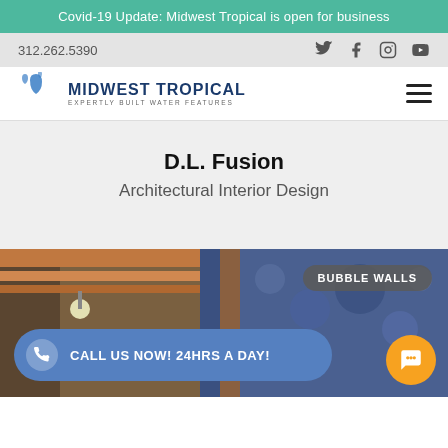Covid-19 Update: Midwest Tropical is open for business
312.262.5390
[Figure (logo): Midwest Tropical logo with water drops and text: MIDWEST TROPICAL, EXPERTLY BUILT WATER FEATURES]
D.L. Fusion
Architectural Interior Design
[Figure (photo): Interior design photo showing bubble wall installation with wooden framing and blue water feature. Overlays: 'BUBBLE WALLS' badge, 'CALL US NOW! 24HRS A DAY!' call-to-action button, and chat widget button.]